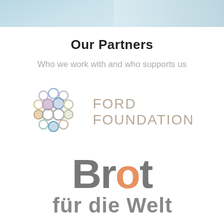[Figure (photo): Top banner image with light blue/teal gradient, partial view of a person]
Our Partners
Who we work with and who supports us
[Figure (logo): Ford Foundation logo: circular bubble/orb grid pattern in soft colors (blue, purple, orange, beige) next to text FORD FOUNDATION in uppercase tan/beige letters]
[Figure (logo): Brot für die Welt logo: large bold gray text 'Brot' with orange 'o', followed by 'für die Welt' in bold gray]